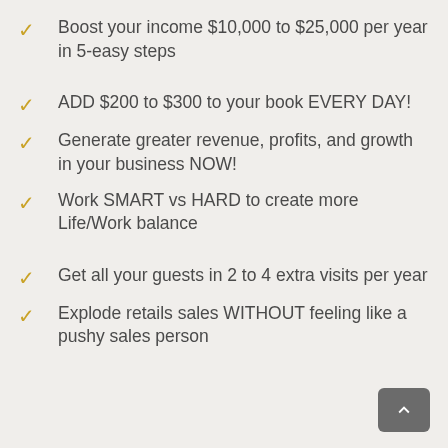Boost your income $10,000 to $25,000 per year in 5-easy steps
ADD $200 to $300 to your book EVERY DAY!
Generate greater revenue, profits, and growth in your business NOW!
Work SMART vs HARD to create more Life/Work balance
Get all your guests in 2 to 4 extra visits per year
Explode retails sales WITHOUT feeling like a pushy sales person